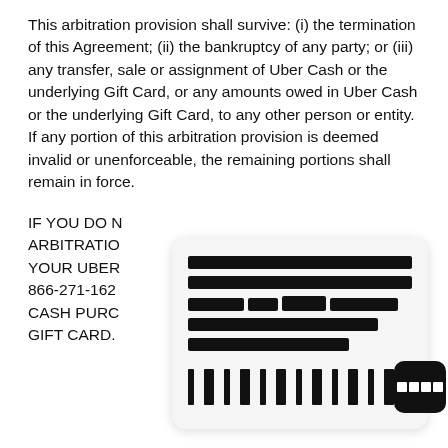This arbitration provision shall survive: (i) the termination of this Agreement; (ii) the bankruptcy of any party; or (iii) any transfer, sale or assignment of Uber Cash or the underlying Gift Card, or any amounts owed in Uber Cash or the underlying Gift Card, to any other person or entity. If any portion of this arbitration provision is deemed invalid or unenforceable, the remaining portions shall remain in force.
IF YOU DO NOT [REDACTED] ARBITRATION [REDACTED] YOUR UBER [REDACTED] 866-271-162[REDACTED] CASH PURC[REDACTED] GIFT CARD.
[Figure (other): Redacted overlay card showing blocked/censored text lines and a barcode with QR-style icon at the bottom right]